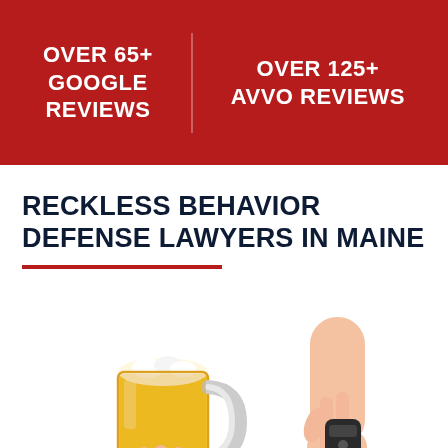OVER 65+ GOOGLE REVIEWS | OVER 125+ AVVO REVIEWS
RECKLESS BEHAVIOR DEFENSE LAWYERS IN MAINE
[Figure (photo): Two hands shown from below: one holding a glass beer mug filled with golden beer, the other holding a set of car keys with a key fob, suggesting drunk driving context on a white background.]